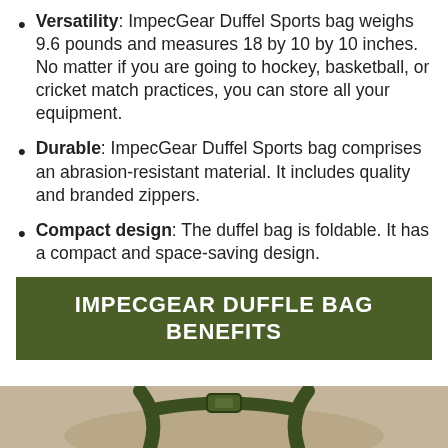Versatility: ImpecGear Duffel Sports bag weighs 9.6 pounds and measures 18 by 10 by 10 inches. No matter if you are going to hockey, basketball, or cricket match practices, you can store all your equipment.
Durable: ImpecGear Duffel Sports bag comprises an abrasion-resistant material. It includes quality and branded zippers.
Compact design: The duffel bag is foldable. It has a compact and space-saving design.
IMPECGEAR DUFFLE BAG BENEFITS
[Figure (photo): Bottom portion of a duffel bag with dark green straps visible against a light background]